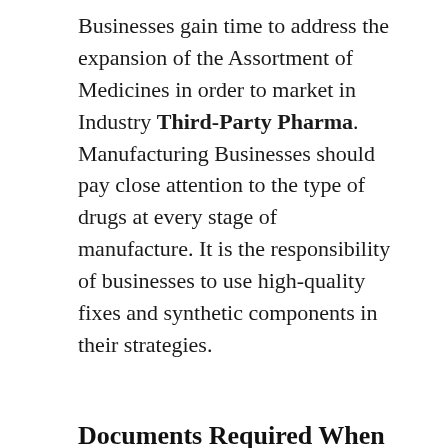Businesses gain time to address the expansion of the Assortment of Medicines in order to market in Industry Third-Party Pharma. Manufacturing Businesses should pay close attention to the type of drugs at every stage of manufacture. It is the responsibility of businesses to use high-quality fixes and synthetic components in their strategies.
Documents Required When Dealing With a Third-Party Manufacturer
We at “Innosearch Biotech” are steadfast in their commitment to provide the highest quality ayurvedic goods and business